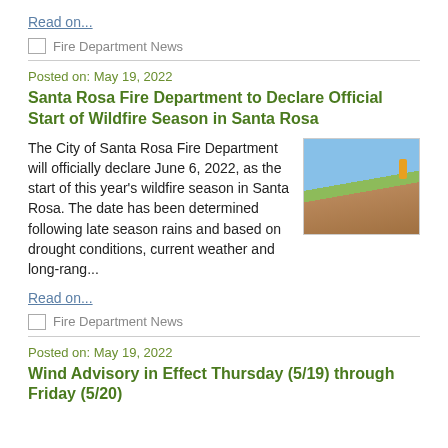Read on...
Fire Department News
Posted on: May 19, 2022
Santa Rosa Fire Department to Declare Official Start of Wildfire Season in Santa Rosa
[Figure (photo): Outdoor photo showing a field with dry grass and burned ground, with a figure in yellow/orange firefighting gear visible, blue sky in background]
The City of Santa Rosa Fire Department will officially declare June 6, 2022, as the start of this year's wildfire season in Santa Rosa. The date has been determined following late season rains and based on drought conditions, current weather and long-rang...
Read on...
Fire Department News
Posted on: May 19, 2022
Wind Advisory in Effect Thursday (5/19) through Friday (5/20)